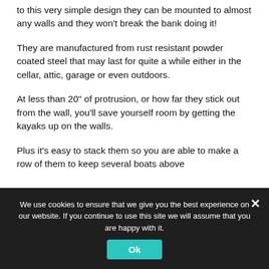to this very simple design they can be mounted to almost any walls and they won't break the bank doing it!
They are manufactured from rust resistant powder coated steel that may last for quite a while either in the cellar, attic, garage or even outdoors.
At less than 20" of protrusion, or how far they stick out from the wall, you'll save yourself room by getting the kayaks up on the walls.
Plus it's easy to stack them so you are able to make a row of them to keep several boats above
We use cookies to ensure that we give you the best experience on our website. If you continue to use this site we will assume that you are happy with it.